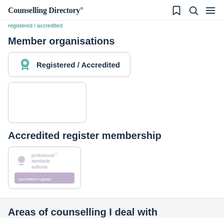Counselling Directory
Registered / Accredited
Member organisations
Registered / Accredited
[Figure (other): Empty bordered box placeholder]
Accredited register membership
[Figure (logo): Professional Standards Authority accredited register logo badge]
Areas of counselling I deal with